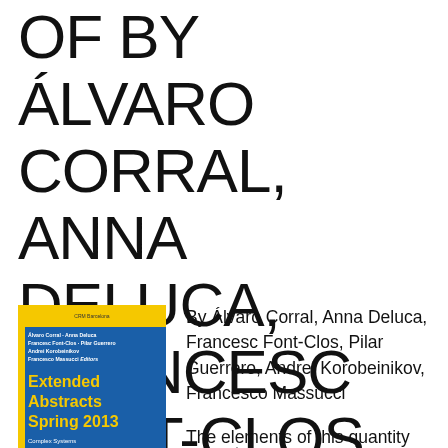OF BY ÁLVARO CORRAL, ANNA DELUCA, FRANCESC FONT-CLOS, PILAR
[Figure (illustration): Book cover of 'Extended Abstracts Spring 2013: Complex Systems Control of Infectious Diseases' edited by Álvaro Corral, Anna Deluca, Francesc Font-Clos, Pilar Guerrero, Andrei Korobeinikov, Francesco Massucci. Published by CRM / Birkhäuser. Cover has yellow top band, blue body with yellow title text.]
By Álvaro Corral, Anna Deluca, Francesc Font-Clos, Pilar Guerrero, Andrei Korobeinikov, Francesco Massucci
The elements of this quantity characteristic prolonged